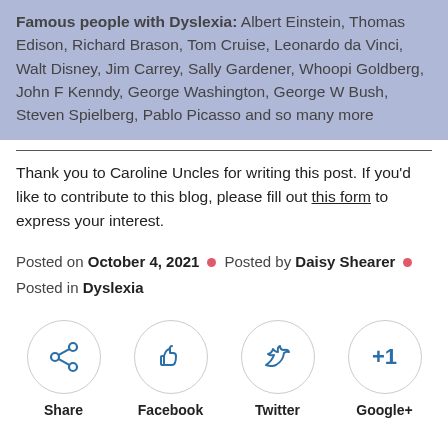Famous people with Dyslexia: Albert Einstein, Thomas Edison, Richard Brason, Tom Cruise, Leonardo da Vinci, Walt Disney, Jim Carrey, Sally Gardener, Whoopi Goldberg, John F Kenndy, George Washington, George W Bush, Steven Spielberg, Pablo Picasso and so many more
Thank you to Caroline Uncles for writing this post. If you'd like to contribute to this blog, please fill out this form to express your interest.
Posted on October 4, 2021 • Posted by Daisy Shearer • Posted in Dyslexia
[Figure (infographic): Social sharing buttons: Share, Facebook, Twitter, Google+]